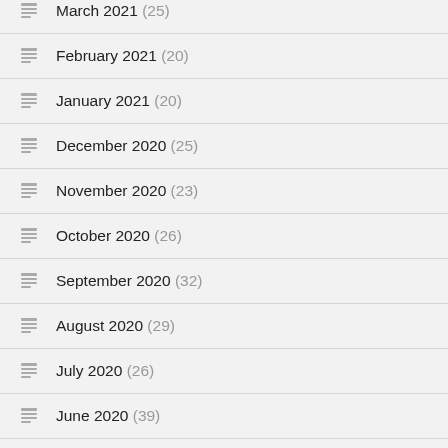March 2021 (25)
February 2021 (20)
January 2021 (20)
December 2020 (25)
November 2020 (23)
October 2020 (26)
September 2020 (32)
August 2020 (29)
July 2020 (26)
June 2020 (39)